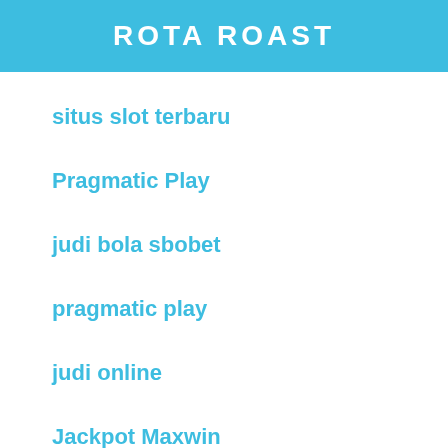ROTA ROAST
situs slot terbaru
Pragmatic Play
judi bola sbobet
pragmatic play
judi online
Jackpot Maxwin